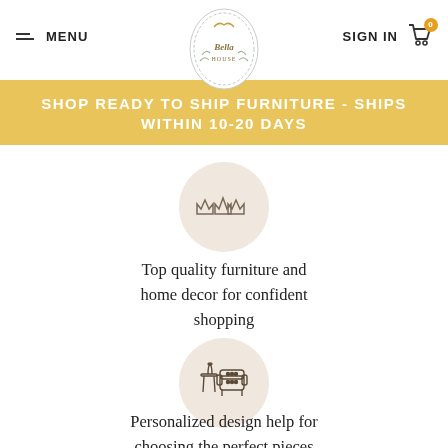MENU | The Bella House logo | SIGN IN [cart 0]
SHOP READY TO SHIP FURNITURE - SHIPS WITHIN 10-20 DAYS
[Figure (illustration): Beige circle with decorative crown/star icon (three crown shapes)]
Top quality furniture and home decor for confident shopping
[Figure (illustration): Beige circle with furniture icon: side table and armchair]
Personalized design help for choosing the perfect pieces